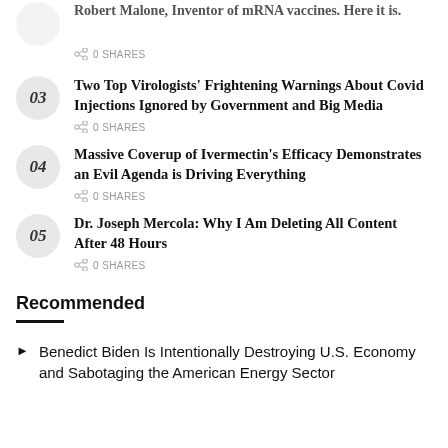Robert Malone, inventor of mRNA vaccines. Here it is.
0 SHARES
03 Two Top Virologists' Frightening Warnings About Covid Injections Ignored by Government and Big Media
0 SHARES
04 Massive Coverup of Ivermectin's Efficacy Demonstrates an Evil Agenda is Driving Everything
0 SHARES
05 Dr. Joseph Mercola: Why I Am Deleting All Content After 48 Hours
0 SHARES
Recommended
Benedict Biden Is Intentionally Destroying U.S. Economy and Sabotaging the American Energy Sector